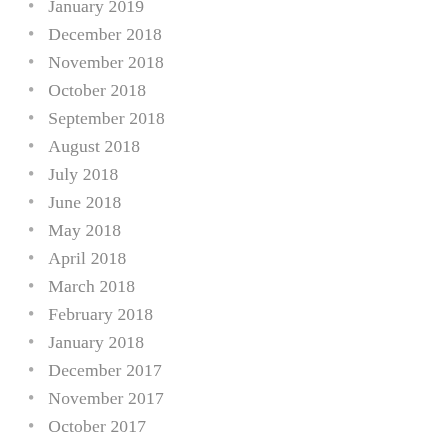January 2019
December 2018
November 2018
October 2018
September 2018
August 2018
July 2018
June 2018
May 2018
April 2018
March 2018
February 2018
January 2018
December 2017
November 2017
October 2017
September 2017